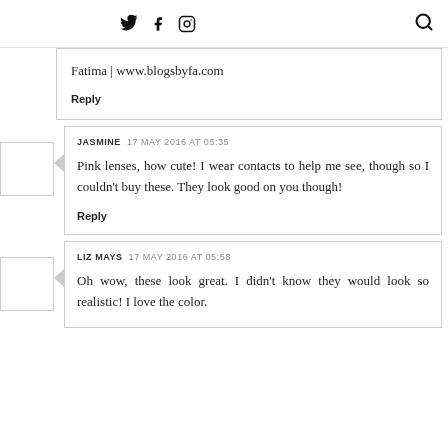Twitter Facebook Instagram [search]
Fatima | www.blogsbyfa.com
Reply
JASMINE  17 MAY 2016 AT 05:35
Pink lenses, how cute! I wear contacts to help me see, though so I couldn't buy these. They look good on you though!
Reply
LIZ MAYS  17 MAY 2016 AT 05:58
Oh wow, these look great. I didn't know they would look so realistic! I love the color.